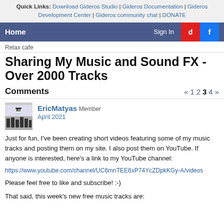Quick Links: Download Gideros Studio | Gideros Documentation | Gideros Development Center | Gideros community chat | DONATE
Home   Sign In
Relax cafe
Sharing My Music and Sound FX - Over 2000 Tracks
Comments  « 1 2 3 4 »
EricMatyas Member
April 2021
Just for fun, I've been creating short videos featuring some of my music tracks and posting them on my site. I also post them on YouTube. If anyone is interested, here's a link to my YouTube channel:
https://www.youtube.com/channel/UC6mnTEE6xP74YcZDpkKGy-A/videos
Please feel free to like and subscribe! :-)
That said, this week's new free music tracks are: